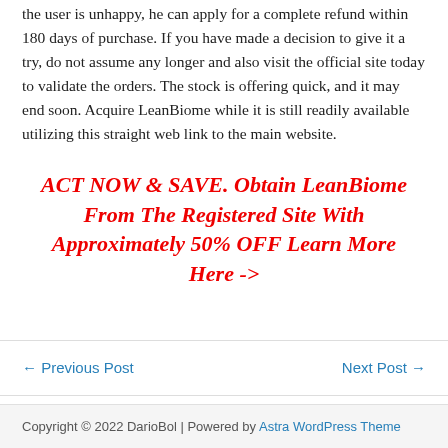the user is unhappy, he can apply for a complete refund within 180 days of purchase. If you have made a decision to give it a try, do not assume any longer and also visit the official site today to validate the orders. The stock is offering quick, and it may end soon. Acquire LeanBiome while it is still readily available utilizing this straight web link to the main website.
ACT NOW & SAVE. Obtain LeanBiome From The Registered Site With Approximately 50% OFF Learn More Here ->
← Previous Post
Next Post →
Copyright © 2022 DarioBol | Powered by Astra WordPress Theme